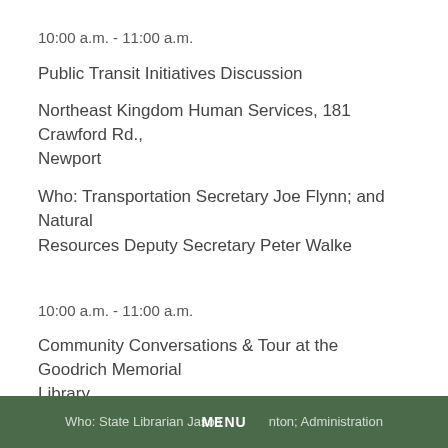10:00 a.m. - 11:00 a.m.
Public Transit Initiatives Discussion
Northeast Kingdom Human Services, 181 Crawford Rd., Newport
Who: Transportation Secretary Joe Flynn; and Natural Resources Deputy Secretary Peter Walke
10:00 a.m. - 11:00 a.m.
Community Conversations & Tour at the Goodrich Memorial Library
Goodrich Memorial Library, 2002 Main St., Newport
Who: State Librarian Jason Righton; Administration   MENU